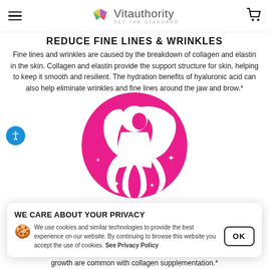Vitauthority — SET THE STANDARD (navigation bar with hamburger menu and cart icon)
REDUCE FINE LINES & WRINKLES
Fine lines and wrinkles are caused by the breakdown of collagen and elastin in the skin. Collagen and elastin provide the support structure for skin, helping to keep it smooth and resilient. The hydration benefits of hyaluronic acid can also help eliminate wrinkles and fine lines around the jaw and brow.*
[Figure (illustration): Pink circle with white silhouette of a woman with flowing hair and sparkle stars — Vitauthority brand icon]
WE CARE ABOUT YOUR PRIVACY
We use cookies and similar technologies to provide the best experience on our website. By continuing to browse this website you accept the use of cookies. See Privacy Policy
growth are common with collagen supplementation.*